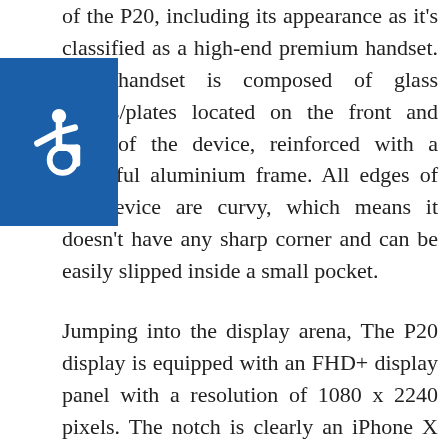of the P20, including its appearance as it's classified as a high-end premium handset. The handset is composed of glass covers/plates located on the front and back of the device, reinforced with a beautiful aluminium frame. All edges of the device are curvy, which means it doesn't have any sharp corner and can be easily slipped inside a small pocket.
Jumping into the display arena, The P20 display is equipped with an FHD+ display panel with a resolution of 1080 x 2240 pixels. The notch is clearly an iPhone X design concept that many Chinese manufacturers are now copying. It provides extra screen-to-body